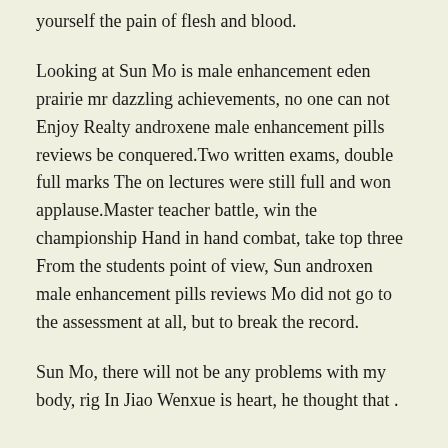yourself the pain of flesh and blood.
Looking at Sun Mo is male enhancement eden prairie mr dazzling achievements, no one can not Enjoy Realty androxene male enhancement pills reviews be conquered.Two written exams, double full marks The on lectures were still full and won applause.Master teacher battle, win the championship Hand in hand combat, take top three From the students point of view, Sun androxen male enhancement pills reviews Mo did not go to the assessment at all, but to break the record.
Sun Mo, there will not be any problems with my body, rig In Jiao Wenxue is heart, he thought that .
Best effective way to take viagra?